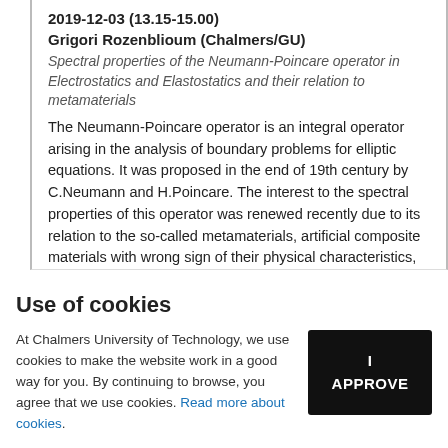2019-12-03 (13.15-15.00)
Grigori Rozenblioum (Chalmers/GU)
Spectral properties of the Neumann-Poincare operator in Electrostatics and Elastostatics and their relation to metamaterials
The Neumann-Poincare operator is an integral operator arising in the analysis of boundary problems for elliptic equations. It was proposed in the end of 19th century by C.Neumann and H.Poincare. The interest to the spectral properties of this operator was renewed recently due to its relation to the so-called metamaterials, artificial composite materials with wrong sign of their physical characteristics, that all we will see...
Use of cookies
At Chalmers University of Technology, we use cookies to make the website work in a good way for you. By continuing to browse, you agree that we use cookies. Read more about cookies.
I APPROVE